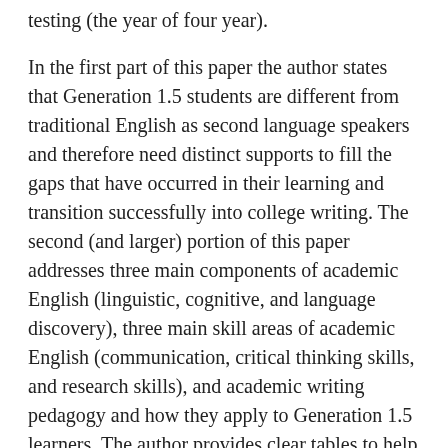testing (the year of four year).
In the first part of this paper the author states that Generation 1.5 students are different from traditional English as second language speakers and therefore need distinct supports to fill the gaps that have occurred in their learning and transition successfully into college writing. The second (and larger) portion of this paper addresses three main components of academic English (linguistic, cognitive, and language discovery), three main skill areas of academic English (communication, critical thinking skills, and research skills), and academic writing pedagogy and how they apply to Generation 1.5 learners. The author provides clear tables to help synthesize the information for the reader. This resource serves as a general roadmap for anyone developing a transitional writing class, developing an academic writing class, or simply trying to understand what writing skills they need to begin to address in their classes.